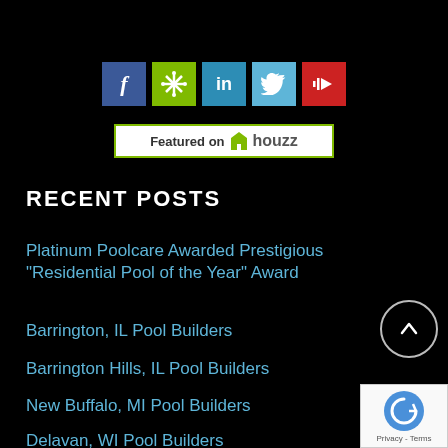[Figure (infographic): Social media icons: Facebook (blue), Houzz (green with snowflake), LinkedIn (blue), Twitter (light blue), YouTube (red)]
[Figure (logo): Featured on Houzz badge with green border and houzz logo]
RECENT POSTS
Platinum Poolcare Awarded Prestigious “Residential Pool of the Year” Award
Barrington, IL Pool Builders
Barrington Hills, IL Pool Builders
New Buffalo, MI Pool Builders
Delavan, WI Pool Builders